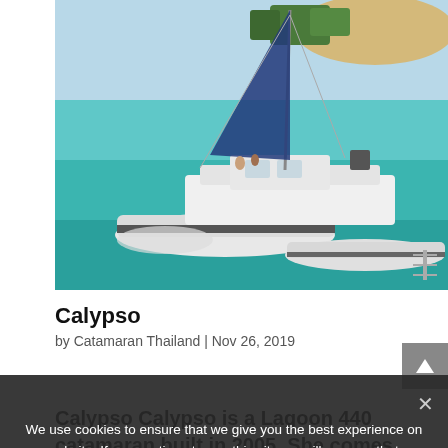[Figure (photo): Aerial or elevated view of a white catamaran sailing boat anchored in clear turquoise-blue water near a sandy beach with tropical trees in the background. The catamaran has a dark blue sail and several people visible on deck.]
Calypso
by Catamaran Thailand | Nov 26, 2019
Calypso Calypso is a Lagoon 440 catamaran built in 2005. She comes with four double cabins with own bathroom and the large saloon with its inbuilt galley
We use cookies to ensure that we give you the best experience on our website. If you continue to use this site we will assume that you are happy with it. Ok No Privacy policy